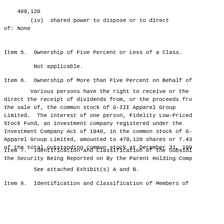489,120
(iv)  shared power to dispose or to direct
of: None
Item 5.  Ownership of Five Percent or Less of a Class.
Not applicable.
Item 6.  Ownership of More than Five Percent on Behalf of
Various persons have the right to receive or the
direct the receipt of dividends from, or the proceeds fro
the sale of, the common stock of G-III Apparel Group
Limited.  The interest of one person, Fidelity Low-Priced
Stock Fund, an investment company registered under the
Investment Company Act of 1940, in the common stock of G-
Apparel Group Limited, amounted to 479,120 shares or 7.43
of the total outstanding common stock at December 31, 199
Item 7.  Identification and Classification of the Subsidi
the Security Being Reported on By the Parent Holding Comp
See attached Exhibit(s) A and B.
Item 8.  Identification and Classification of Members of